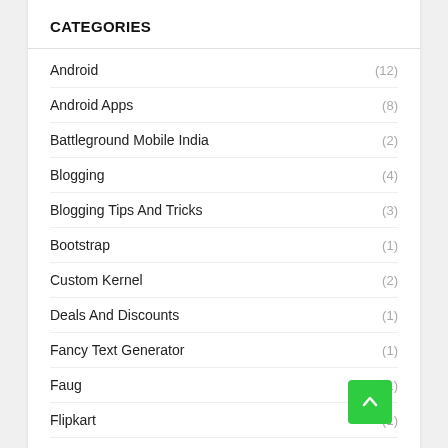CATEGORIES
Android (12)
Android Apps (8)
Battleground Mobile India (2)
Blogging (4)
Blogging Tips And Tricks (3)
Bootstrap (1)
Custom Kernel (2)
Deals And Discounts (1)
Fancy Text Generator (1)
Faug (1)
Flipkart (1)
Flipkart Saving Days Sale (1)
Food
Gaming (4)